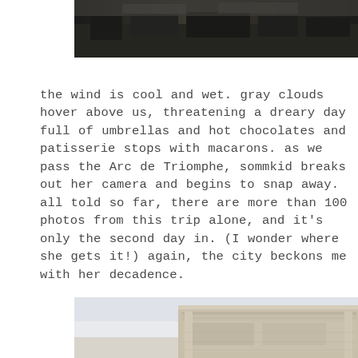[Figure (photo): Top portion of a street scene in Paris, sepia/dark toned, showing cars and urban environment near Arc de Triomphe area]
the wind is cool and wet. gray clouds hover above us, threatening a dreary day full of umbrellas and hot chocolates and patisserie stops with macarons. as we pass the Arc de Triomphe, sommkid breaks out her camera and begins to snap away. all told so far, there are more than 100 photos from this trip alone, and it's only the second day in. (I wonder where she gets it!) again, the city beckons me with her decadence.
[Figure (photo): Close-up architectural detail of the Arc de Triomphe in Paris, showing ornate stonework and carvings, pale sky background]